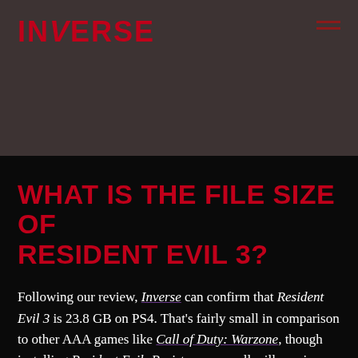INVERSE
WHAT IS THE FILE SIZE OF RESIDENT EVIL 3?
Following our review, Inverse can confirm that Resident Evil 3 is 23.8 GB on PS4. That's fairly small in comparison to other AAA games like Call of Duty: Warzone, though installing Resident Evil: Resistance as well will require